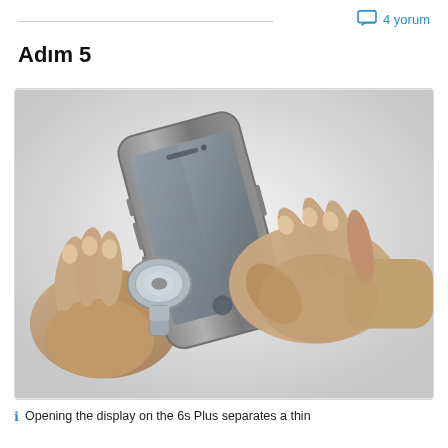4 yorum
Adım 5
[Figure (photo): Two hands working on an iPhone 6 Plus. The left hand holds the phone at an angle, while the right hand uses a suction cup tool attached to the lower screen area to open the display.]
Opening the display on the 6s Plus separates a thin